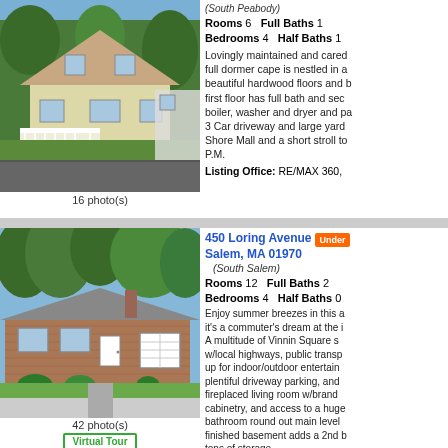[Figure (photo): Yellow cape-style house with white porch railing and dormer windows, surrounded by trees and green lawn]
16 photo(s)
(South Peabody)
Rooms 6  Full Baths 1
Bedrooms 4  Half Baths 1
Lovingly maintained and cared... full dormer cape is nestled in a... beautiful hardwood floors and b... first floor has full bath and sec... boiler, washer and dryer and pa... 3 Car driveway and large yard... Shore Mall and a short stroll to... P.M.
Listing Office: RE/MAX 360,
[Figure (photo): Single-story ranch house with brick exterior, white garage door, and manicured hedges]
42 photo(s)
Virtual Tour
450 Loring Avenue
Salem, MA 01970
(South Salem)
Rooms 12  Full Baths 2
Bedrooms 4  Half Baths 0
Enjoy summer breezes in this a... it's a commuter's dream at the i... A multitude of Vinnin Square s... w/local highways, public transp... up for indoor/outdoor entertain... plentiful driveway parking, and... fireplaced living room w/brand... cabinetry, and access to a huge... bathroom round out main level... finished basement adds a 2nd b... tons of storage.
Listing Office: RE/MAX 360